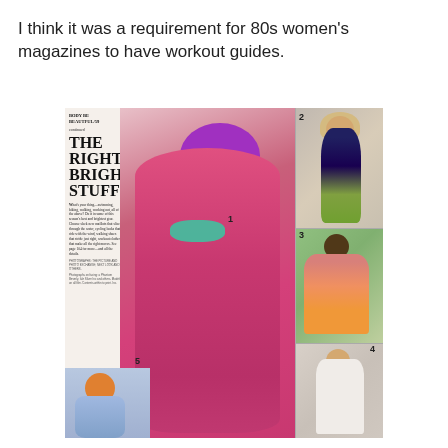I think it was a requirement for 80s women's magazines to have workout guides.
[Figure (photo): Scanned page from an 80s women's magazine showing 'The Right Bright Stuff' fitness fashion spread. Features 5 numbered photos of women in colorful workout and swimwear. Main image (1) shows a woman in a bright pink swimsuit with purple swim cap and teal goggles. Photos 2-5 show other women in various athletic gear. Page header reads 'Body Be Beautful/59 continued'. Large headline text reads 'THE RIGHT BRIGHT STUFF'.]